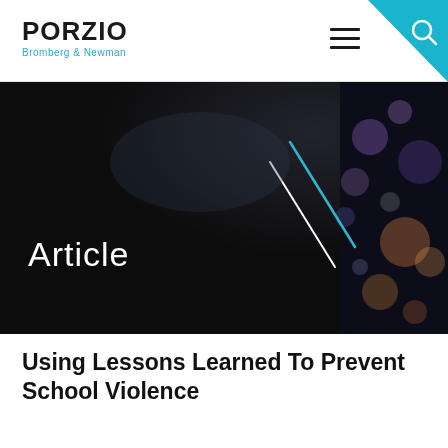PORZIO Bromberg & Newman
[Figure (illustration): Dark hero image with 'Article' text and teal/white diagonal slash design element, with blurred bokeh lights on right side]
Using Lessons Learned To Prevent School Violence